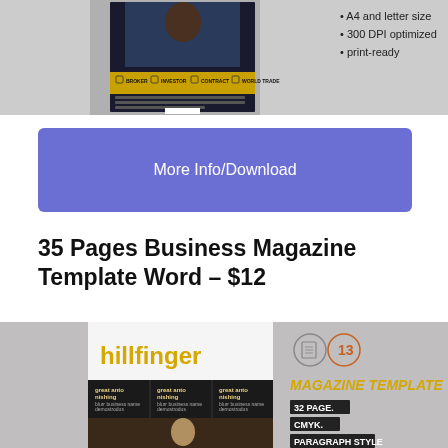[Figure (screenshot): Top portion of a business magazine template product preview on a grey background, showing a dark magazine cover with checkboxes for BROKER, INVESTOR, CONTRACT, WORLD TRADE, a barcode, and a person in business attire. Right side shows bullet points: A4 and letter size, 300 DPI optimized, print-ready.]
More Info/Download
35 Pages Business Magazine Template Word – $12
[Figure (screenshot): Bottom portion showing a business magazine template product preview. Left side: white magazine cover with 'hillfinger' in yellow text, three column layout with 'great anto nishing' headings and a dark photo of people. Right side on grey background: two circular icons, 'MAGAZINE TEMPLATE' in yellow, and feature badges reading '32 PAGE.', 'CMYK.', 'PARAGRAPH STYLE'.]